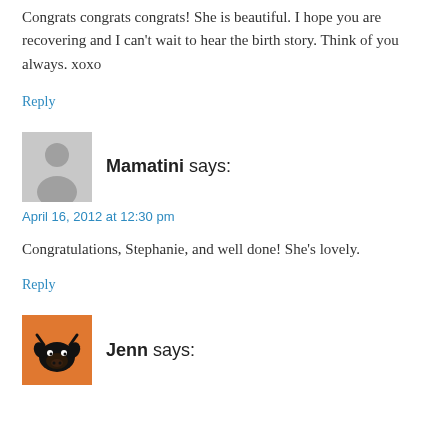Congrats congrats congrats! She is beautiful. I hope you are recovering and I can't wait to hear the birth story. Think of you always. xoxo
Reply
[Figure (illustration): Gray avatar placeholder silhouette icon]
Mamatini says:
April 16, 2012 at 12:30 pm
Congratulations, Stephanie, and well done! She's lovely.
Reply
[Figure (illustration): Orange square avatar with black cow/animal illustration]
Jenn says: